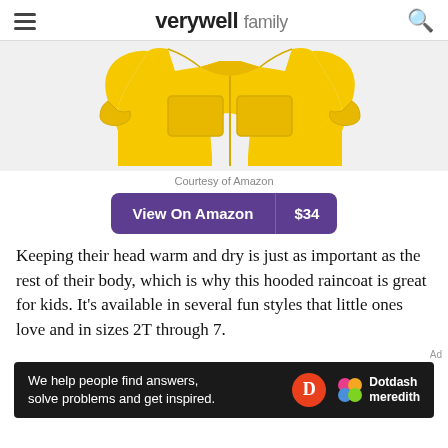verywell family
[Figure (photo): Yellow children's hooded raincoat/jacket with chest pockets and elastic cuffs, shown on white background]
Courtesy of Amazon
View On Amazon $34
Keeping their head warm and dry is just as important as the rest of their body, which is why this hooded raincoat is great for kids. It’s available in several fun styles that little ones love and in sizes 2T through 7.
Ad
[Figure (infographic): Dotdash Meredith advertisement banner: 'We help people find answers, solve problems and get inspired.' with Dotdash Meredith logo]